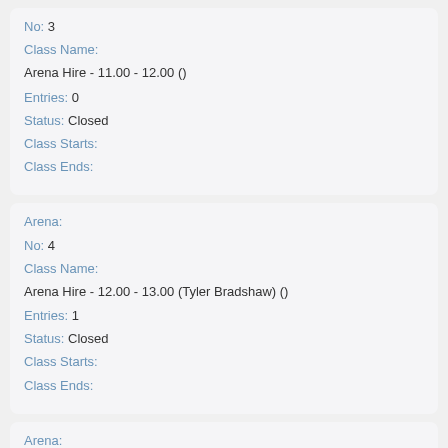No: 3
Class Name: Arena Hire - 11.00 - 12.00 ()
Entries: 0
Status: Closed
Class Starts:
Class Ends:
Arena:
No: 4
Class Name: Arena Hire - 12.00 - 13.00 (Tyler Bradshaw) ()
Entries: 1
Status: Closed
Class Starts:
Class Ends:
Arena:
No: 5
Class Name: Arena Hire - 13.00 - 14.00 ()
Entries: 0